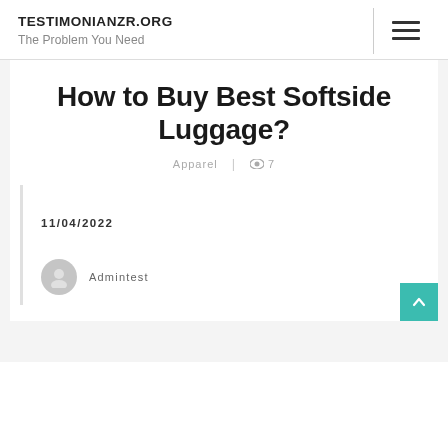TESTIMONIANZR.ORG
The Problem You Need
How to Buy Best Softside Luggage?
Apparel | 👁 7
11/04/2022
Admintest